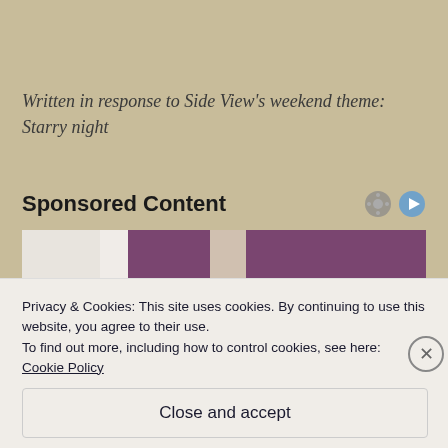Written in response to Side View's weekend theme: Starry night
Sponsored Content
[Figure (photo): A woman with curly hair in a bedroom setting with purple curtains in the background]
Privacy & Cookies: This site uses cookies. By continuing to use this website, you agree to their use.
To find out more, including how to control cookies, see here: Cookie Policy
Close and accept